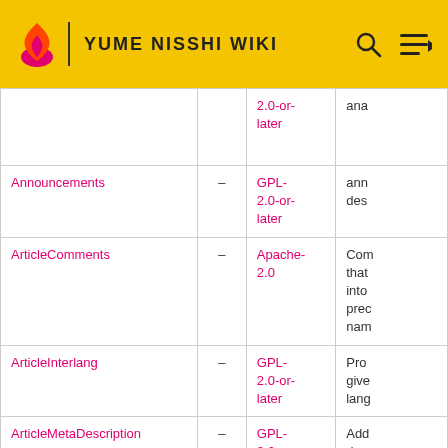YUME NISSHI WIKI
| Extension | Version | License | Description |
| --- | --- | --- | --- |
|  |  | 2.0-or-later | ana |
| Announcements | – | GPL-2.0-or-later | ann desc |
| ArticleComments | – | Apache-2.0 | Com that into prec nam |
| ArticleInterlang | – | GPL-2.0-or-later | Pro give lang |
| ArticleMetaDescription | – | GPL-2.0-or-later | Add desc pag |